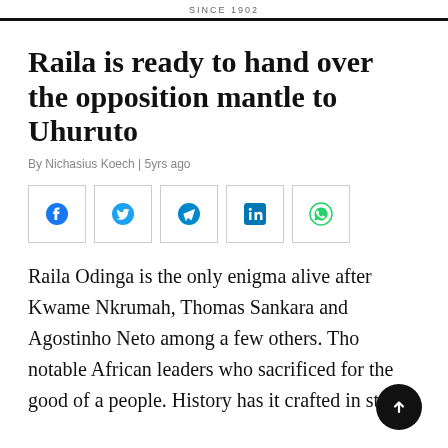SINCE 1902
Raila is ready to hand over the opposition mantle to Uhuruto
By Nichasius Koech | 5yrs ago
[Figure (infographic): Row of five social media share buttons: Facebook, Twitter, Telegram, LinkedIn, WhatsApp]
Raila Odinga is the only enigma alive after Kwame Nkrumah, Thomas Sankara and Agostinho Neto among a few others. Those notable African leaders who sacrificed for the good of a people. History has it crafted in steel